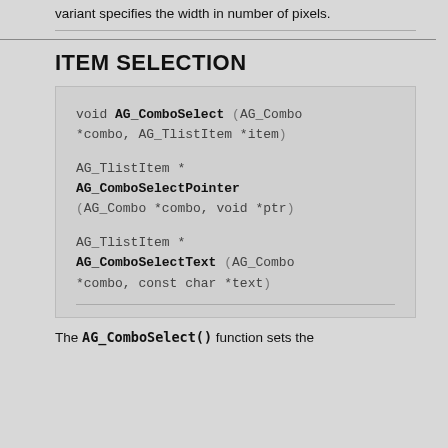variant specifies the width in number of pixels.
ITEM SELECTION
[Figure (other): Code block showing three function signatures: void AG_ComboSelect (AG_Combo *combo, AG_TlistItem *item), AG_TlistItem * AG_ComboSelectPointer (AG_Combo *combo, void *ptr), AG_TlistItem * AG_ComboSelectText (AG_Combo *combo, const char *text)]
The AG_ComboSelect() function sets the